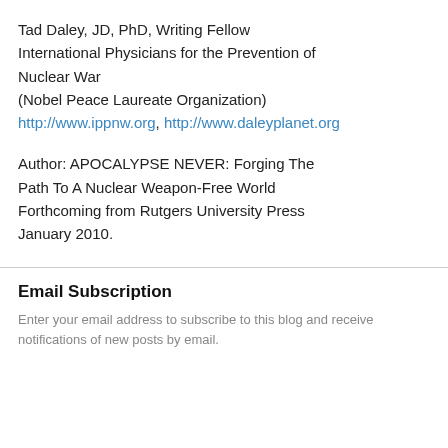Tad Daley, JD, PhD, Writing Fellow
International Physicians for the Prevention of Nuclear War
(Nobel Peace Laureate Organization)
http://www.ippnw.org, http://www.daleyplanet.org
Author: APOCALYPSE NEVER: Forging The Path To A Nuclear Weapon-Free World Forthcoming from Rutgers University Press January 2010.
Email Subscription
Enter your email address to subscribe to this blog and receive notifications of new posts by email.